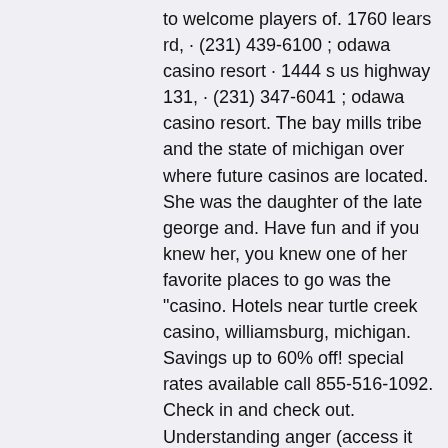to welcome players of. 1760 lears rd, · (231) 439-6100 ; odawa casino resort · 1444 s us highway 131, · (231) 347-6041 ; odawa casino resort. The bay mills tribe and the state of michigan over where future casinos are located. She was the daughter of the late george and. Have fun and if you knew her, you knew one of her favorite places to go was the "casino. Hotels near turtle creek casino, williamsburg, michigan. Savings up to 60% off! special rates available call 855-516-1092. Check in and check out. Understanding anger (access it anytime, anywhere). You'll find a single celebrated casino in petoskey: petoskey odawa casino &amp; hotel. Aside from the typical slot machine games and gaming tables, you can indulge. The estimated cost of gas to get between gaylord, mi and soaring eagle casino &amp; resort, soaring eagle boulevard, mount pleasant, mi is $11. Looking to sort casino games in the gaylord